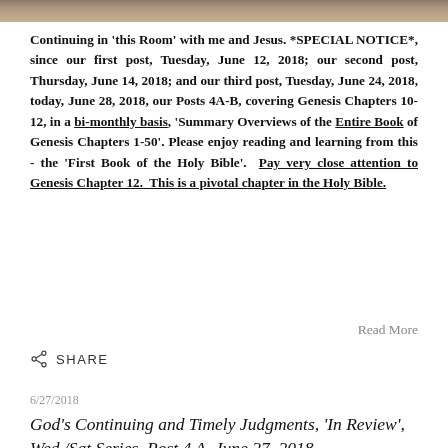[Figure (photo): Decorative image strip at top of page]
Continuing in 'this Room' with me and Jesus. *SPECIAL NOTICE*, since our first post, Tuesday, June 12, 2018; our second post, Thursday, June 14, 2018; and our third post, Tuesday, June 24, 2018, today, June 28, 2018, our Posts 4A-B, covering Genesis Chapters 10-12, in a bi-monthly basis, 'Summary Overviews of the Entire Book of Genesis Chapters 1-50'. Please enjoy reading and learning from this - the 'First Book of the Holy Bible'.  Pay very close attention to Genesis Chapter 12.  This is a pivotal chapter in the Holy Bible.
Read More
SHARE
6/27/2018
God's Continuing and Timely Judgments, 'In Review', Wed./Sat Series, Post 4 A, June 27, 2018